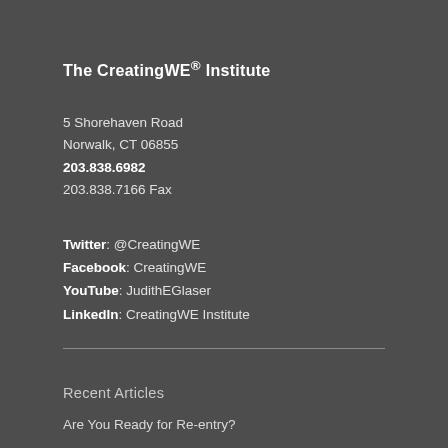The CreatingWE® Institute
5 Shorehaven Road
Norwalk, CT 06855
203.838.6982
203.838.7166 Fax
Twitter: @CreatingWE
Facebook: CreatingWE
YouTube: JudithEGlaser
LinkedIn: CreatingWE Institute
Recent Articles
Are You Ready for Re-entry?
Am I Safe With You? Our Polyvagal Relationship Radar